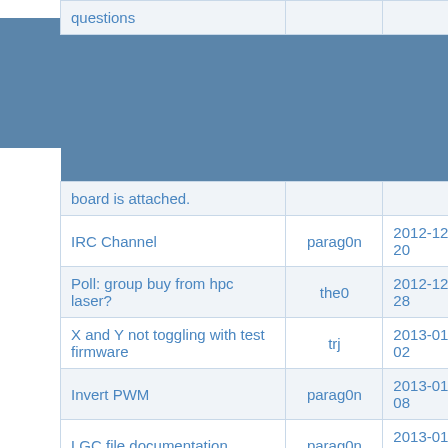| Topic | Author | Date |
| --- | --- | --- |
| questions |  |  |
| board is attached. |  |  |
| IRC Channel | parag0n | 2012-12-20 |
| Poll: group buy from hpc laser? | the0 | 2012-12-28 |
| X and Y not toggling with test firmware | trj | 2013-01-02 |
| Invert PWM | parag0n | 2013-01-08 |
| LGC file documentation | parag0n | 2013-01-09 |
| "hysteresis" in engraving (?) | leenvw | 2013-01-11 |
| LaOS user meeting, februari 16th (NL) | jaap | 2013-01-31 |
| Compile errors | BugBlue | 2013-02-08 |
| Compiling on mbed.org - it doesn't - please help | DaveStyles | 2013-02-14 |
| MBED SDK is now Open Source | parag0n | 2013-02-22 |